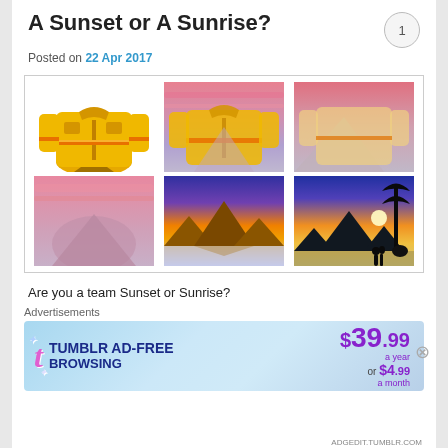A Sunset or A Sunrise?
Posted on 22 Apr 2017
[Figure (photo): 3x2 grid of six images: top row shows a yellow firefighter jacket alone, then overlaid on a pink/purple sunset sky, then on another sunset sky with mountain. Bottom row shows a blurred pink mountain/sky scene, a colorful sunset over mountains with reflection, and a sunset silhouette with trees and a couple.]
Are you a team Sunset or Sunrise?
Advertisements
[Figure (screenshot): Tumblr ad-free browsing advertisement banner: $39.99 a year or $4.99 a month]